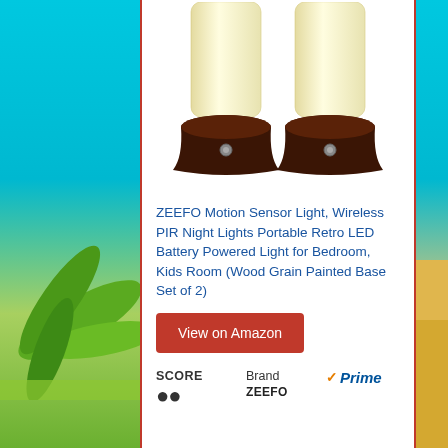[Figure (photo): Two ZEEFO retro LED night lights with dark wood grain painted bases and frosted white cylindrical shades, showing the motion sensor dots on the front of each base.]
ZEEFO Motion Sensor Light, Wireless PIR Night Lights Portable Retro LED Battery Powered Light for Bedroom, Kids Room (Wood Grain Painted Base Set of 2)
View on Amazon
SCORE   Brand   Prime